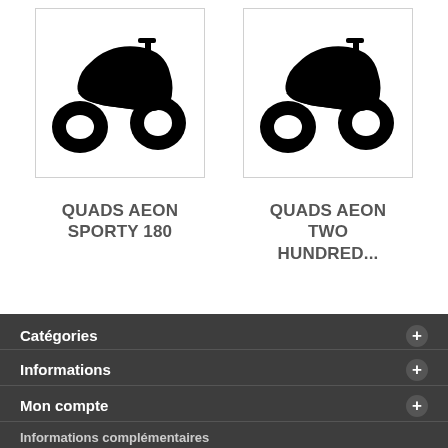[Figure (photo): Black silhouette of an ATV/quad bike facing left]
QUADS AEON SPORTY 180
[Figure (photo): Black silhouette of an ATV/quad bike facing left]
QUADS AEON TWO HUNDRED...
Catégories
Informations
Mon compte
Informations complémentaires